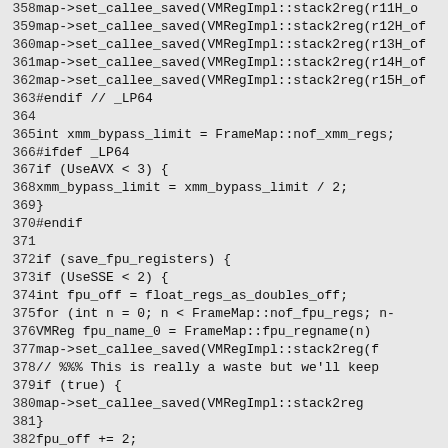Source code listing, lines 358–388, C++ code for register mapping and FPU save logic